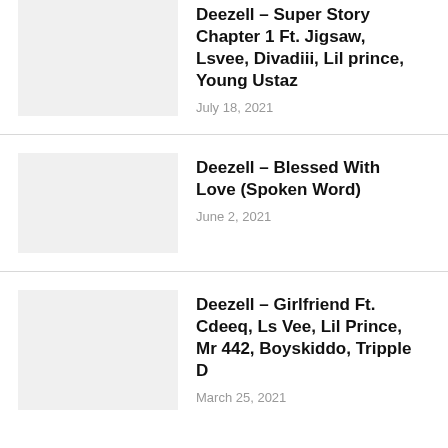Deezell – Super Story Chapter 1 Ft. Jigsaw, Lsvee, Divadiii, Lil prince, Young Ustaz
July 18, 2021
Deezell – Blessed With Love (Spoken Word)
June 2, 2021
Deezell – Girlfriend Ft. Cdeeq, Ls Vee, Lil Prince, Mr 442, Boyskiddo, Tripple D
March 25, 2021